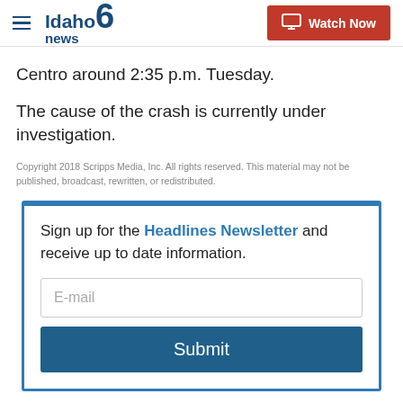Idaho news 6 | Watch Now
Centro around 2:35 p.m. Tuesday.
The cause of the crash is currently under investigation.
Copyright 2018 Scripps Media, Inc. All rights reserved. This material may not be published, broadcast, rewritten, or redistributed.
Sign up for the Headlines Newsletter and receive up to date information.
E-mail
Submit